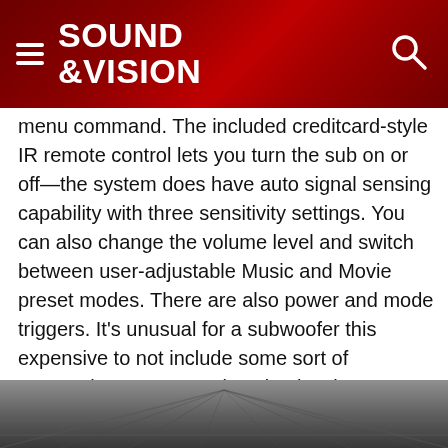SOUND &VISION
menu command. The included creditcard-style IR remote control lets you turn the sub on or off—the system does have auto signal sensing capability with three sensitivity settings. You can also change the volume level and switch between user-adjustable Music and Movie preset modes. There are also power and mode triggers. It’s unusual for a subwoofer this expensive to not include some sort of automatic room correction circuitry, but according to BG, it’s not that necessary thanks to the acoustic benefits of the four separate sub modules. (More on that in a moment.)
[Figure (photo): Bottom portion of a dark gray/charcoal colored subwoofer speaker cabinet with perspective lines]